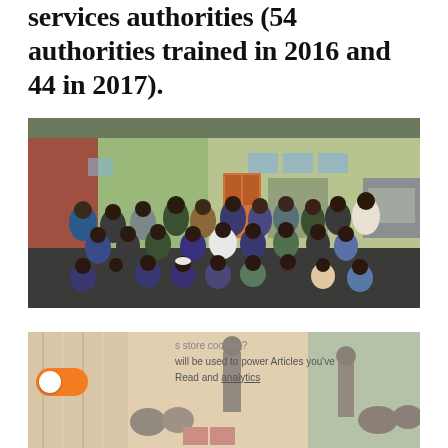services authorities (54 authorities trained in 2016 and 44 in 2017).
[Figure (photo): Group photo of approximately 30 people (including military, police, and civilian officials) posed in front of a green building with a red brick section and orange door. The group is arranged in three rows — standing, crouching, and kneeling. A vehicle is partially visible on the right.]
[Figure (photo): Partial view of an indoor training/meeting scene with people seated and a presenter standing, partially obscured by a cookie consent overlay popup. The overlay shows a toggle switch (orange, turned on) and text about storing cookies and powering Articles you've Read and analytics.]